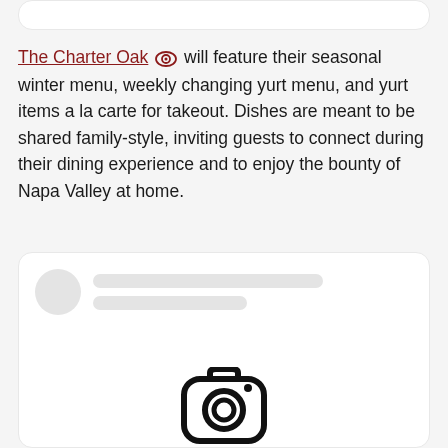[Figure (other): Partially visible white card at top of page]
The Charter Oak 👁 will feature their seasonal winter menu, weekly changing yurt menu, and yurt items a la carte for takeout. Dishes are meant to be shared family-style, inviting guests to connect during their dining experience and to enjoy the bounty of Napa Valley at home.
[Figure (screenshot): White card containing a skeleton loading placeholder (avatar circle and gray lines) and a partial Instagram camera icon at the bottom]